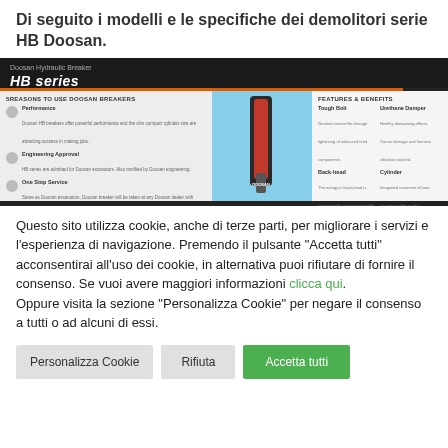Di seguito i modelli e le specifiche dei demolitori serie HB Doosan.
[Figure (screenshot): Doosan Hydraulic Breaker HB series product brochure screenshot showing reasons to use Doosan breakers (Performance, Engineering Approval, One Stop Service, Recovery) on the left, a photo of the hydraulic breaker in the center, and Features & Benefits (Tough Bolt, Back-head, Inward Valve System, Tool Head, Urethane Damper, Cylinder, Piston) on the right.]
Questo sito utilizza cookie, anche di terze parti, per migliorare i servizi e l'esperienza di navigazione. Premendo il pulsante "Accetta tutti" acconsentirai all'uso dei cookie, in alternativa puoi rifiutare di fornire il consenso. Se vuoi avere maggiori informazioni clicca qui. Oppure visita la sezione "Personalizza Cookie" per negare il consenso a tutti o ad alcuni di essi.